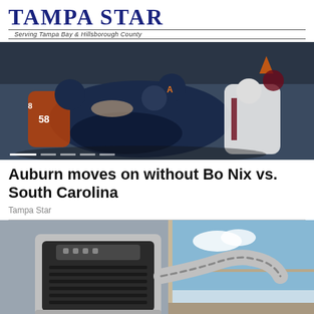Tampa Star — Serving Tampa Bay & Hillsborough County
[Figure (photo): College football game action shot showing players tackling, Auburn vs South Carolina uniforms visible, taken during a game]
Auburn moves on without Bo Nix vs. South Carolina
Tampa Star
[Figure (photo): Portable air conditioner unit with exhaust hose connected to a window, silver and black color, placed near a wall]